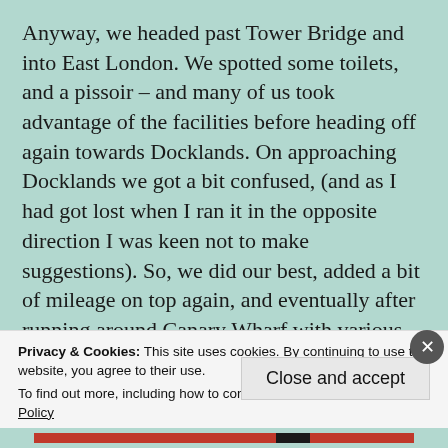Anyway, we headed past Tower Bridge and into East London. We spotted some toilets, and a pissoir – and many of us took advantage of the facilities before heading off again towards Docklands. On approaching Docklands we got a bit confused, (and as I had got lost when I ran it in the opposite direction I was keen not to make suggestions). So, we did our best, added a bit of mileage on top again, and eventually after running around Canary Wharf with various bemused security guards eyeing us suspiciously we ended up back in East London.
Privacy & Cookies: This site uses cookies. By continuing to use this website, you agree to their use.
To find out more, including how to control cookies, see here: Cookie Policy
Close and accept